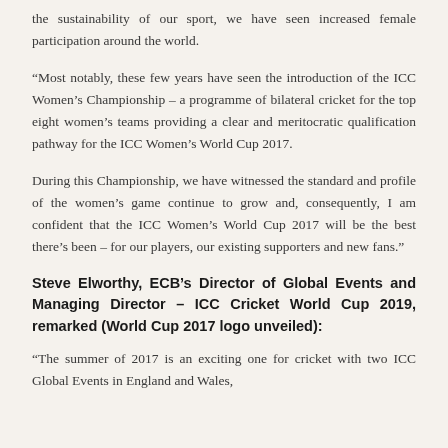the sustainability of our sport, we have seen increased female participation around the world.
“Most notably, these few years have seen the introduction of the ICC Women’s Championship – a programme of bilateral cricket for the top eight women’s teams providing a clear and meritocratic qualification pathway for the ICC Women’s World Cup 2017.
During this Championship, we have witnessed the standard and profile of the women’s game continue to grow and, consequently, I am confident that the ICC Women’s World Cup 2017 will be the best there’s been – for our players, our existing supporters and new fans.”
Steve Elworthy, ECB’s Director of Global Events and Managing Director – ICC Cricket World Cup 2019, remarked (World Cup 2017 logo unveiled):
“The summer of 2017 is an exciting one for cricket with two ICC Global Events in England and Wales,